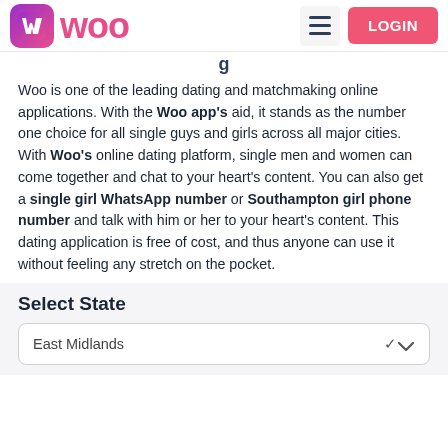WOO — LOGIN
Woo is one of the leading dating and matchmaking online applications. With the Woo app's aid, it stands as the number one choice for all single guys and girls across all major cities. With Woo's online dating platform, single men and women can come together and chat to your heart's content. You can also get a single girl WhatsApp number or Southampton girl phone number and talk with him or her to your heart's content. This dating application is free of cost, and thus anyone can use it without feeling any stretch on the pocket.
Select State
East Midlands